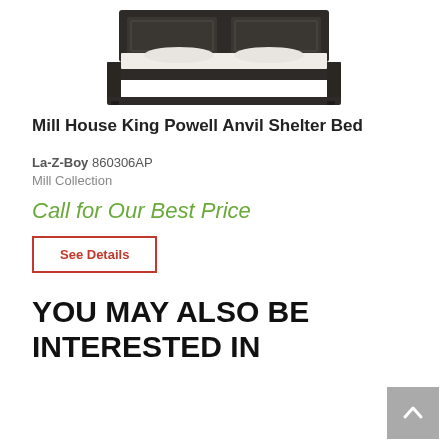[Figure (photo): Product image of Mill House King Powell Anvil Shelter Bed, a dark wood bed frame with paneled headboard and footboard, shown in a partial top view.]
Mill House King Powell Anvil Shelter Bed
La-Z-Boy 860306AP
Mill Collection
Call for Our Best Price
See Details
YOU MAY ALSO BE INTERESTED IN